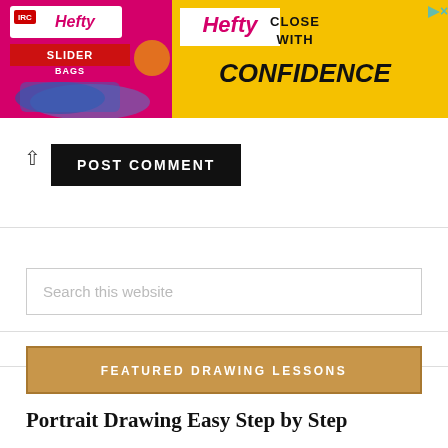[Figure (photo): Hefty Slider Bags advertisement banner. Pink/magenta and yellow background. Hefty logo on white box, SLIDER BAGS text in red, CLOSE WITH CONFIDENCE tagline. Product bags image on left side.]
POST COMMENT
Search this website
FEATURED DRAWING LESSONS
Portrait Drawing Easy Step by Step